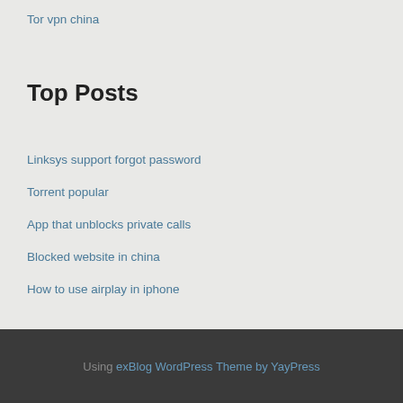Tor vpn china
Top Posts
Linksys support forgot password
Torrent popular
App that unblocks private calls
Blocked website in china
How to use airplay in iphone
Using exBlog WordPress Theme by YayPress